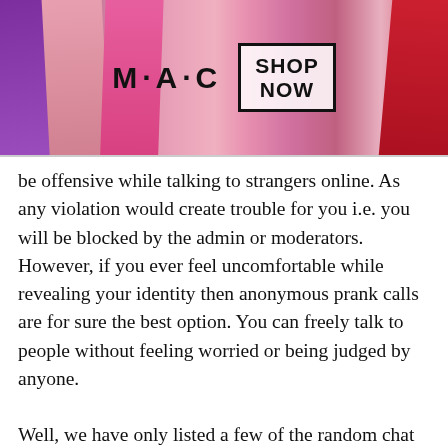[Figure (photo): MAC Cosmetics advertisement banner with colorful lipsticks on left and right, MAC logo in center, and a 'SHOP NOW' box with black border on the right side]
be offensive while talking to strangers online. As any violation would create trouble for you i.e. you will be blocked by the admin or moderators. However, if you ever feel uncomfortable while revealing your identity then anonymous prank calls are for sure the best option. You can freely talk to people without feeling worried or being judged by anyone.

Well, we have only listed a few of the random chat rooms and features. There are a lot more chat rooms
[Figure (other): Amazon.com online shopping advertisement with Amazon logo, title 'Amazon.com: Online Shopping for Everyone', description 'Shop at Amazon. Free Shipping with Prime. Best Deals Ever!', amazon.com URL, and a blue circular arrow button]